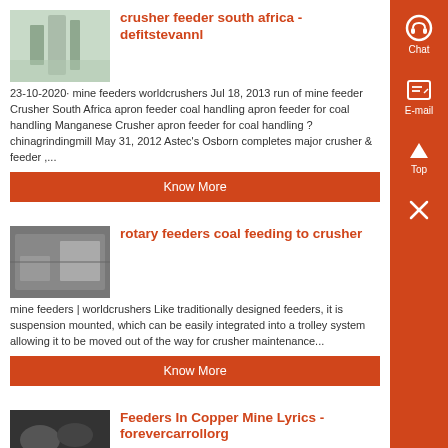crusher feeder south africa - defitstevannl
23-10-2020· mine feeders worldcrushers Jul 18, 2013 run of mine feeder Crusher South Africa apron feeder coal handling apron feeder for coal handling Manganese Crusher apron feeder for coal handling ? chinagrindingmill May 31, 2012 Astec's Osborn completes major crusher & feeder ,...
Know More
rotary feeders coal feeding to crusher
mine feeders | worldcrushers Like traditionally designed feeders, it is suspension mounted, which can be easily integrated into a trolley system allowing it to be moved out of the way for crusher maintenance...
Know More
Feeders In Copper Mine Lyrics - forevercarrollorg